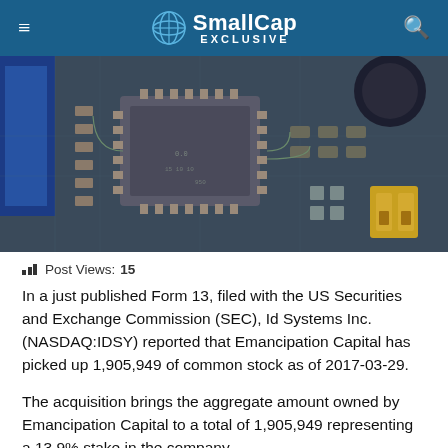SmallCap EXCLUSIVE
[Figure (photo): Close-up photo of a circuit board with electronic components, microchips, capacitors, and a yellow connector visible]
Post Views 15
In a just published Form 13, filed with the US Securities and Exchange Commission (SEC), Id Systems Inc. (NASDAQ:IDSY) reported that Emancipation Capital has picked up 1,905,949 of common stock as of 2017-03-29.
The acquisition brings the aggregate amount owned by Emancipation Capital to a total of 1,905,949 representing a 13.9% stake in the company.